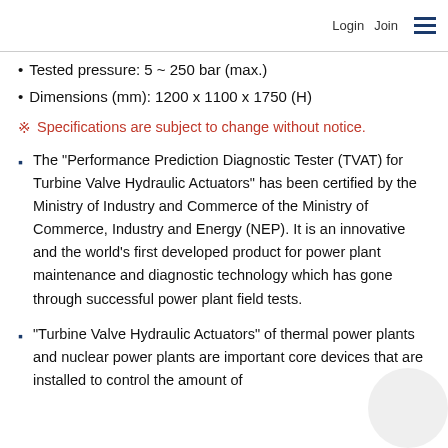Login  Join  ≡
Tested pressure: 5 ~ 250 bar (max.)
Dimensions (mm): 1200 x 1100 x 1750 (H)
※  Specifications are subject to change without notice.
The "Performance Prediction Diagnostic Tester (TVAT) for Turbine Valve Hydraulic Actuators" has been certified by the Ministry of Industry and Commerce of the Ministry of Commerce, Industry and Energy (NEP). It is an innovative and the world's first developed product for power plant maintenance and diagnostic technology which has gone through successful power plant field tests.
"Turbine Valve Hydraulic Actuators" of thermal power plants and nuclear power plants are important core devices that are installed to control the amount of